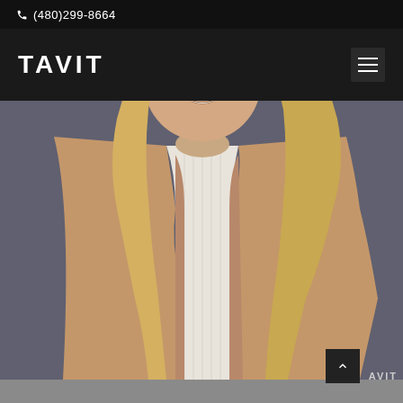(480)299-8664
TAVIT
[Figure (photo): Professional headshot of a blonde woman smiling, wearing a white ribbed sweater and tan/camel open blazer, photographed against a dark gray background. The photo is cropped from just above the head to below the shoulders/chest area.]